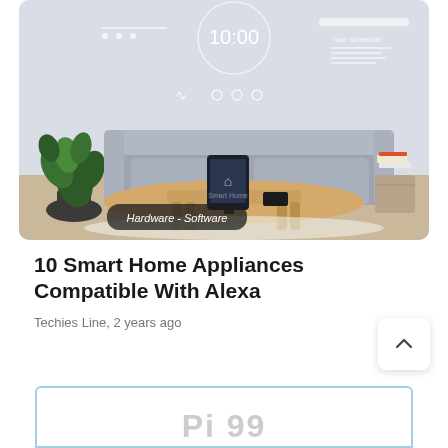[Figure (photo): A smart home living room scene showing a couch, a tablet on a wooden coffee table displaying a smart home interface, a plant, and a smart home UI overlay with clock showing 10:00. A label reads 'Hardware - Software' in the lower left corner.]
10 Smart Home Appliances Compatible With Alexa
Techies Line, 2 years ago
[Figure (screenshot): Partial view of a card or widget with a light blue border, showing the beginning of large grey text at the bottom of the page.]